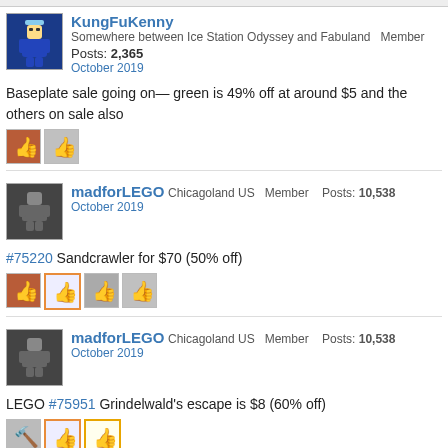[Figure (other): Top strip/header partial]
KungFuKenny  Somewhere between Ice Station Odyssey and Fabuland  Member
Posts: 2,365
October 2019
Baseplate sale going on— green is 49% off at around $5 and the others on sale also
[Figure (other): Two reaction thumbs-up icons]
madforLEGO  Chicagoland US  Member  Posts: 10,538
October 2019
#75220 Sandcrawler for $70 (50% off)
[Figure (other): Four reaction icons]
madforLEGO  Chicagoland US  Member  Posts: 10,538
October 2019
LEGO #75951 Grindelwald's escape is $8 (60% off)
[Figure (other): Three reaction icons (hammer and two thumbs-up)]